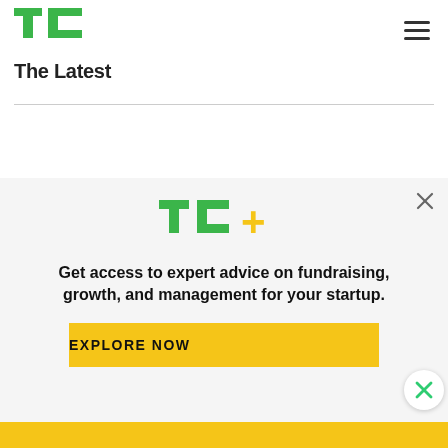TechCrunch logo and navigation
The Latest
Origin launches protocol for building cheaper decentralized Ubers &
[Figure (logo): TC+ logo with green TC letters and yellow plus sign]
Get access to expert advice on fundraising, growth, and management for your startup.
EXPLORE NOW